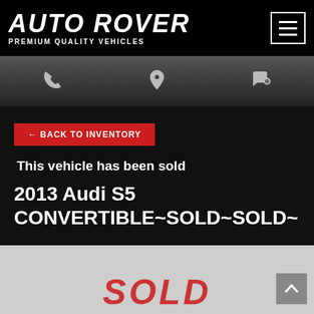AUTO ROVER PREMIUM QUALITY VEHICLES
[Figure (screenshot): Navigation bar with phone, map pin, and chat/comment icons]
← BACK TO INVENTORY
This vehicle has been sold
2013 Audi S5 CONVERTIBLE~SOLD~SOLD~
[Figure (photo): Vehicle image with large red SOLD text overlay]